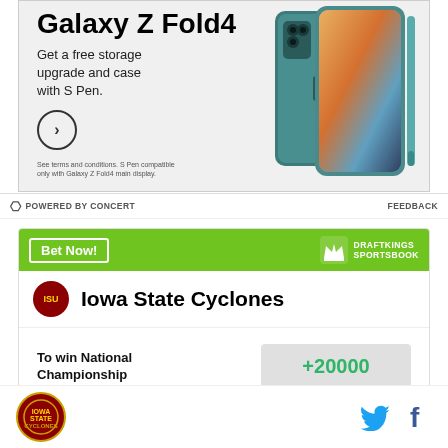[Figure (photo): Samsung Galaxy Z Fold4 advertisement showing a teal/blue colored folded phone with S Pen. Text reads 'Galaxy Z Fold4 - Get a free storage upgrade and case with S Pen.' with a circular arrow button and small disclaimer text.]
POWERED BY CONCERT    FEEDBACK
[Figure (infographic): DraftKings Sportsbook betting widget showing Iowa State Cyclones with odds of +20000 to win National Championship. Green header with 'Bet Now!' button and DraftKings Sportsbook logo.]
[Figure (logo): Iowa State circular logo at bottom left, with Twitter bird icon and Facebook 'f' icon at bottom right.]